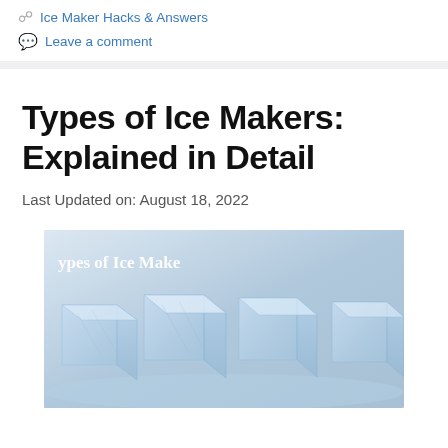Ice Maker Hacks & Answers
Leave a comment
Types of Ice Makers: Explained in Detail
Last Updated on: August 18, 2022
[Figure (photo): Photo of ice cubes on a light blue-white icy surface with the text 'Types of Ice Makers' overlaid in white serif font at the top left corner of the image.]